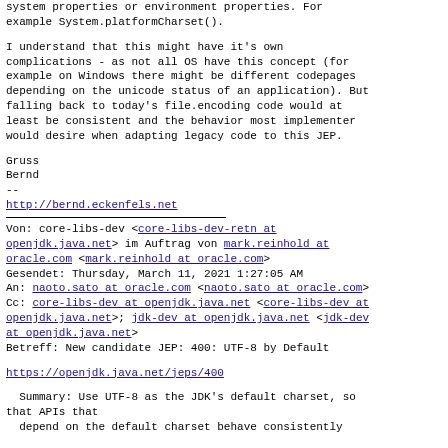system properties or environment properties. For example System.platformCharset().
I understand that this might have it's own complications - as not all OS have this concept (for example on Windows there might be different codepages depending on the unicode status of an application). But falling back to today's file.encoding code would at least be consistent and the behavior most implementer would desire when adapting legacy code to this JEP.
Gruss
Bernd
--
http://bernd.eckenfels.net
Von: core-libs-dev <core-libs-dev-retn at openjdk.java.net> im Auftrag von mark.reinhold at oracle.com <mark.reinhold at oracle.com>
Gesendet: Thursday, March 11, 2021 1:27:05 AM
An: naoto.sato at oracle.com <naoto.sato at oracle.com>
Cc: core-libs-dev at openjdk.java.net <core-libs-dev at openjdk.java.net>; jdk-dev at openjdk.java.net <jdk-dev at openjdk.java.net>
Betreff: New candidate JEP: 400: UTF-8 by Default
https://openjdk.java.net/jeps/400
Summary: Use UTF-8 as the JDK's default charset, so that APIs that
  depend on the default charset behave consistently